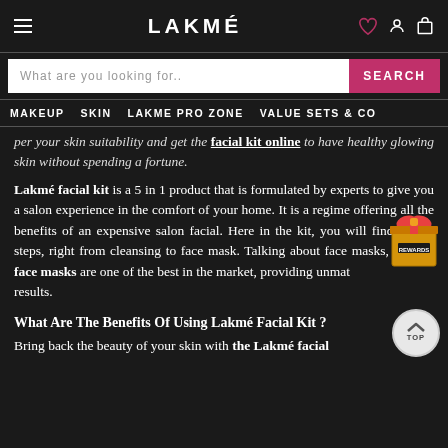LAKMÉ
What are you looking for..
MAKEUP   SKIN   LAKME PRO ZONE   VALUE SETS & CO
per your skin suitability and get the facial kit online to have healthy glowing skin without spending a fortune.
Lakmé facial kit is a 5 in 1 product that is formulated by experts to give you a salon experience in the comfort of your home. It is a regime offering all the benefits of an expensive salon facial. Here in the kit, you will find all the steps, right from cleansing to face mask. Talking about face masks, Lakmé face masks are one of the best in the market, providing unmatched results.
What Are The Benefits Of Using Lakmé Facial Kit ?
Bring back the beauty of your skin with the Lakmé facial